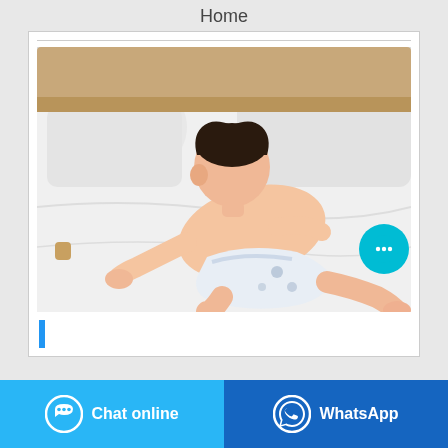Home
[Figure (photo): Baby crawling on a white bed wearing a diaper, viewed from behind/side, with white pillows and wooden headboard in background]
[Figure (other): Blue vertical bar / cursor indicator]
[Figure (other): Teal circular chat bubble button with ellipsis icon]
[Figure (other): Chat online button (light blue) with chat icon and WhatsApp button (dark blue) with WhatsApp icon]